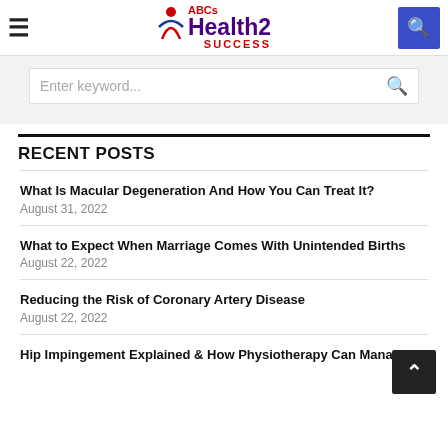ABCs Health2 Success
Enter keyword...
RECENT POSTS
What Is Macular Degeneration And How You Can Treat It?
August 31, 2022
What to Expect When Marriage Comes With Unintended Births
August 22, 2022
Reducing the Risk of Coronary Artery Disease
August 22, 2022
Hip Impingement Explained & How Physiotherapy Can Manage It